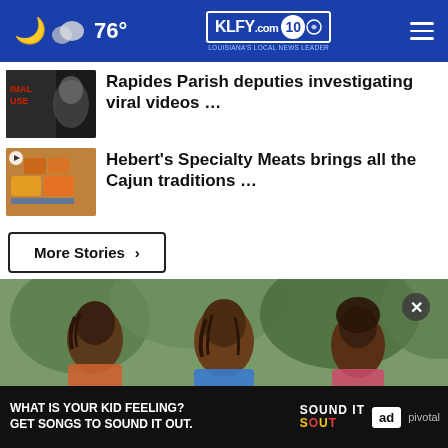76° KLFY.com 10 — Louisiana's Local News Leader
Rapides Parish deputies investigating viral videos …
Hebert's Specialty Meats brings all the Cajun traditions …
More Stories ›
[Figure (photo): Three women sitting outdoors, smiling and talking, with green foliage in background]
[Figure (infographic): Advertisement banner: 'What is your kid feeling? Get songs to sound it out.' Sound It Out campaign by Ad Council and Pivotal]